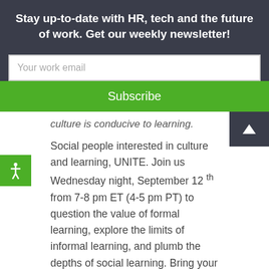Stay up-to-date with HR, tech and the future of work. Get our weekly newsletter!
Your work email
Subscribe
culture is conducive to learning.
Social people interested in culture and learning, UNITE. Join us Wednesday night, September 12 th from 7-8 pm ET (4-5 pm PT) to question the value of formal learning, explore the limits of informal learning, and plumb the depths of social learning. Bring your culture-vulture point of view, because learning doesn't happen in a void – it happens in a learning culture.
We'll discuss learning – formal, informal and social learning – and provide recommendations for leaders and HR practitioners trying to chart the best path for their organizations and communities. No blue book...